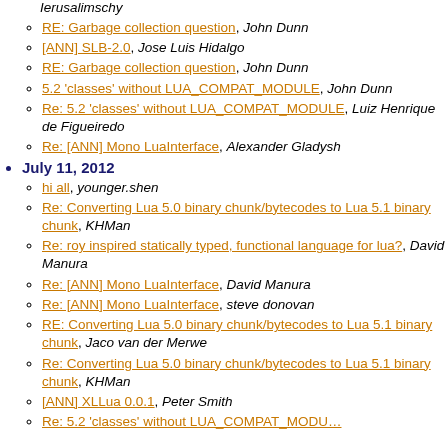Ierusalimschy
RE: Garbage collection question, John Dunn
[ANN] SLB-2.0, Jose Luis Hidalgo
RE: Garbage collection question, John Dunn
5.2 'classes' without LUA_COMPAT_MODULE, John Dunn
Re: 5.2 'classes' without LUA_COMPAT_MODULE, Luiz Henrique de Figueiredo
Re: [ANN] Mono LuaInterface, Alexander Gladysh
July 11, 2012
hi all, younger.shen
Re: Converting Lua 5.0 binary chunk/bytecodes to Lua 5.1 binary chunk, KHMan
Re: roy inspired statically typed, functional language for lua?, David Manura
Re: [ANN] Mono LuaInterface, David Manura
Re: [ANN] Mono LuaInterface, steve donovan
RE: Converting Lua 5.0 binary chunk/bytecodes to Lua 5.1 binary chunk, Jaco van der Merwe
Re: Converting Lua 5.0 binary chunk/bytecodes to Lua 5.1 binary chunk, KHMan
[ANN] XLLua 0.0.1, Peter Smith
Re: 5.2 'classes' without LUA_COMPAT_MODULE